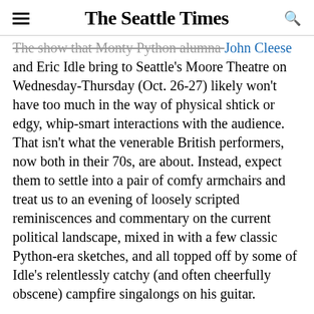The Seattle Times
The show that Monty Python alumna John Cleese and Eric Idle bring to Seattle's Moore Theatre on Wednesday-Thursday (Oct. 26-27) likely won't have too much in the way of physical shtick or edgy, whip-smart interactions with the audience. That isn't what the venerable British performers, now both in their 70s, are about. Instead, expect them to settle into a pair of comfy armchairs and treat us to an evening of loosely scripted reminiscences and commentary on the current political landscape, mixed in with a few classic Python-era sketches, and all topped off by some of Idle's relentlessly catchy (and often cheerfully obscene) campfire singalongs on his guitar.
No live performance by these two could ever be